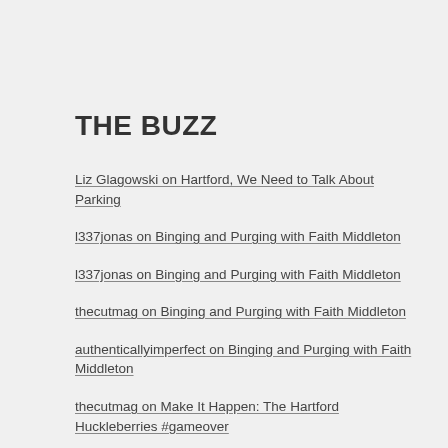THE BUZZ
Liz Glagowski on Hartford, We Need to Talk About Parking
l337jonas on Binging and Purging with Faith Middleton
l337jonas on Binging and Purging with Faith Middleton
thecutmag on Binging and Purging with Faith Middleton
authenticallyimperfect on Binging and Purging with Faith Middleton
thecutmag on Make It Happen: The Hartford Huckleberries #gameover
Tony C on Make It Happen: The Hartford Huckleberries #gameover